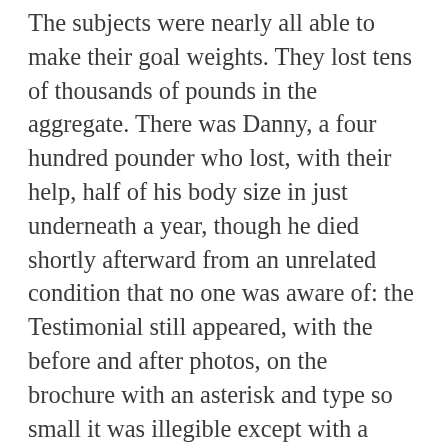The subjects were nearly all able to make their goal weights. They lost tens of thousands of pounds in the aggregate. There was Danny, a four hundred pounder who lost, with their help, half of his body size in just underneath a year, though he died shortly afterward from an unrelated condition that no one was aware of: the Testimonial still appeared, with the before and after photos, on the brochure with an asterisk and type so small it was illegible except with a magnifying glass, which they had to get specially printed on a super-high-resolution printer; it read There Are Health Reasons Not to Suddenly Lose All Your Body Weight (the designer really liked his capital letters at the beginning of words, being a fan of nineteenth century novels). And Sherilyn was impressed and a little bit surprised when each of them finally made their weight, in spite of what she knew about the Method, which worked whether or not you wanted it to. That was its genius. That was why the Starvationist could charge such fees, why she could